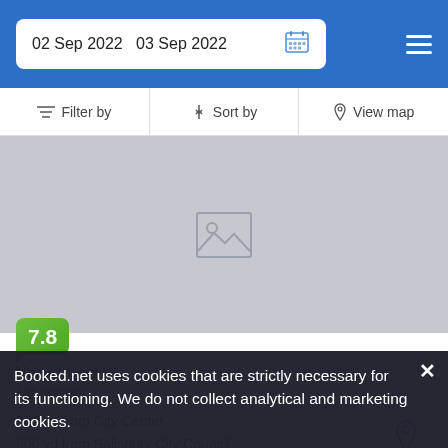02 Sep 2022   03 Sep 2022
Filter by   Sort by   View map
[Figure (photo): Hotel listing image placeholder (grey background with image icon)]
7.8
Very good
145 reviews
800 yd from City Center
600 yd from Salisbury City Council
Booked.net uses cookies that are strictly necessary for its functioning. We do not collect analytical and marketing cookies.